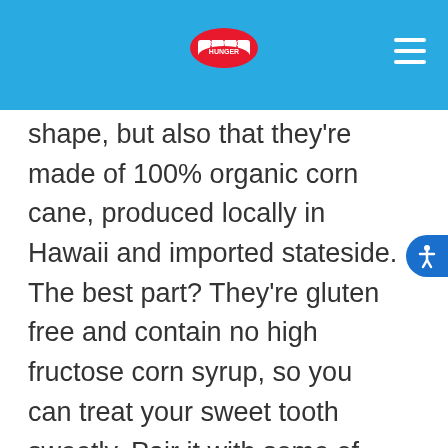Roaming Hunger
shape, but also that they're made of 100% organic corn cane, produced locally in Hawaii and imported stateside. The best part? They're gluten free and contain no high fructose corn syrup, so you can treat your sweet tooth sweetly. Pair it with some of the creamiest vanilla soft serve you'll find anywhere, and you've got a new kind of ice cream to scream about. So why wait? You'll find Hawaiian Honey Cones gracing the streets of Las